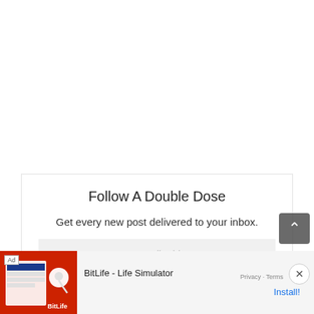Follow A Double Dose
Get every new post delivered to your inbox.
Your email address
[Figure (screenshot): Advertisement banner for BitLife - Life Simulator app with red background image and install button]